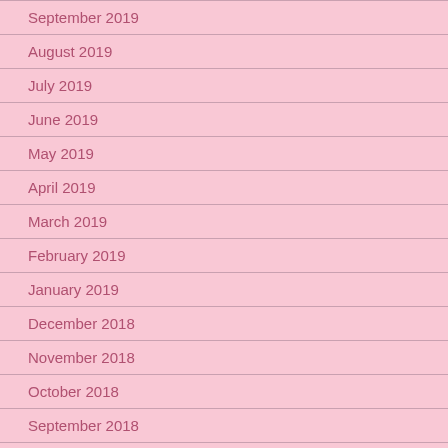September 2019
August 2019
July 2019
June 2019
May 2019
April 2019
March 2019
February 2019
January 2019
December 2018
November 2018
October 2018
September 2018
August 2018
July 2018
June 2018